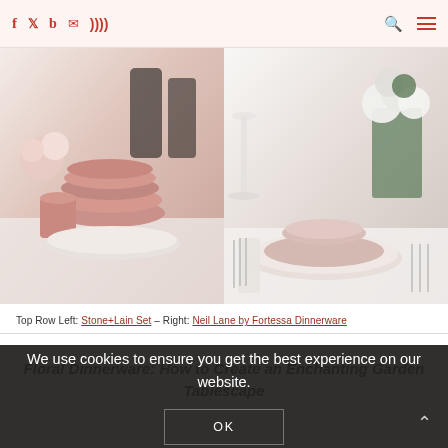Social media icons: f (Facebook), Twitter, b (Bloglovin), Email, RSS — search icon, hamburger menu
[Figure (photo): Left photo: pink stacked bowls, mugs, and plates on a marble counter with flowers in background (Stone+Lain Set). Right photo: pink plate and bowl place setting on marble table with white floral centerpiece and wine glasses (Neil Lane by Fortessa Dinnerware).]
Top Row Left: Stone+Lain Set – Right: Neil Lane by Fortessa Dinnerware
We use cookies to ensure you get the best experience on our website.
Floral Dinnerware: How to Create an Enchanting Garden Tablescape
OK